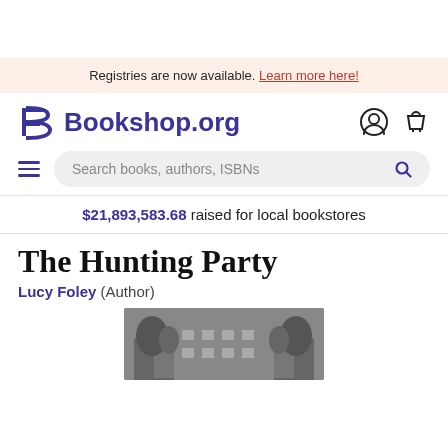Registries are now available. Learn more here!
[Figure (logo): Bookshop.org logo with stylized B and site name, plus user account and cart icons]
Search books, authors, ISBNs
$21,893,583.68 raised for local bookstores
The Hunting Party
Lucy Foley (Author)
[Figure (photo): Black and white photo of a large building/estate partially visible at bottom of page]